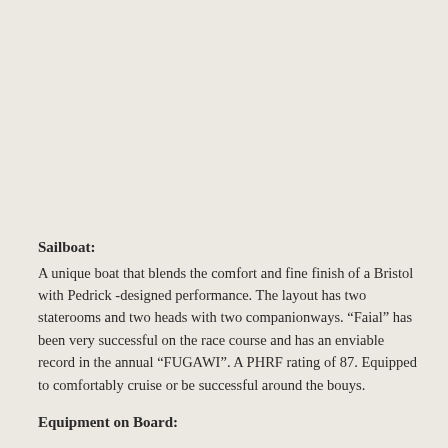Sailboat:
A unique boat that blends the comfort and fine finish of a Bristol with Pedrick -designed performance. The layout has two staterooms and two heads with two companionways. “Faial” has been very successful on the race course and has an enviable record in the annual “FUGAWI”. A PHRF rating of 87. Equipped to comfortably cruise or be successful around the bouys.
Equipment on Board: